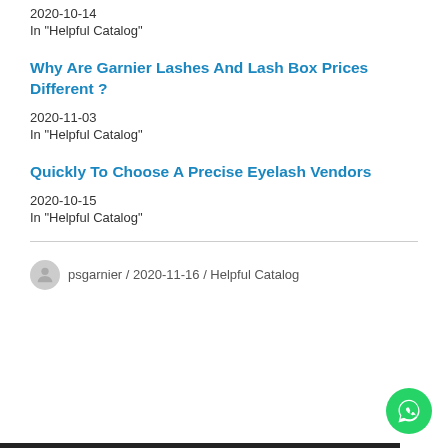2020-10-14
In "Helpful Catalog"
Why Are Garnier Lashes And Lash Box Prices Different ?
2020-11-03
In "Helpful Catalog"
Quickly To Choose A Precise Eyelash Vendors
2020-10-15
In "Helpful Catalog"
psgarnier / 2020-11-16 / Helpful Catalog